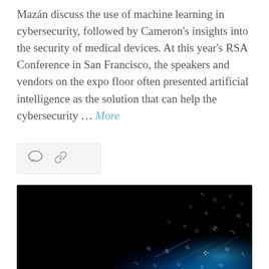Mazán discuss the use of machine learning in cybersecurity, followed by Cameron's insights into the security of medical devices. At this year's RSA Conference in San Francisco, the speakers and vendors on the expo floor often presented artificial intelligence as the solution that can help the cybersecurity … More
[Figure (other): Icon bar with comment bubble icon and share/link icon on a light gray background]
[Figure (photo): Dark cybersecurity themed photo with black background and glowing blue digital characters or data streams floating in the lower right portion of the image]